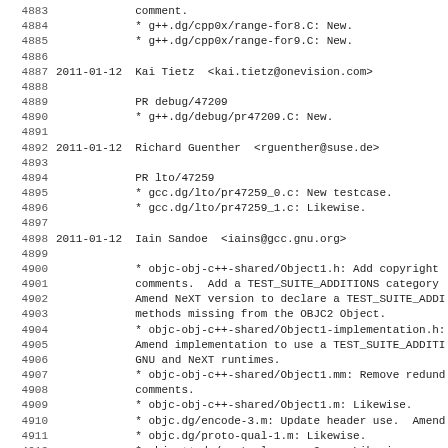Changelog/commit log excerpt, lines 4883-4914, showing GCC project entries for 2011-01-12 by Kai Tietz, Richard Guenther, and Iain Sandoe.